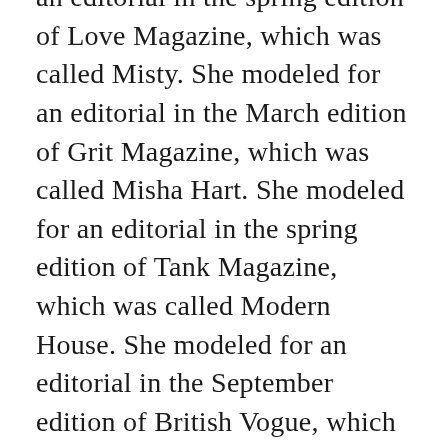an editorial in the spring edition of Love Magazine, which was called Misty. She modeled for an editorial in the March edition of Grit Magazine, which was called Misha Hart. She modeled for an editorial in the spring edition of Tank Magazine, which was called Modern House. She modeled for an editorial in the September edition of British Vogue, which was called Join Our Club. She modeled for an editorial in the fall edition of Love Magazine, which was called Upstarts. She modeled for an editorial in the fall edition of Purple Fashion, which was called Portraits. She modeled for an editorial in the fall edition of Self Service. She modeled for an editorial in the September edition of Document Journal, which was called How Can I Touch Creation As A Principle Without Reproach? She modeled for an editorial in the fall edition of Holiday Magazine, which was called East Lothian. She modeled for an editorial in the October edition of Le Monde M Magazine, which was called L'allure Sans Facon. She modeled for an editorial in the winter edition of 10 Magazine, which was called Army Dreamers. She modeled for an editorial in the